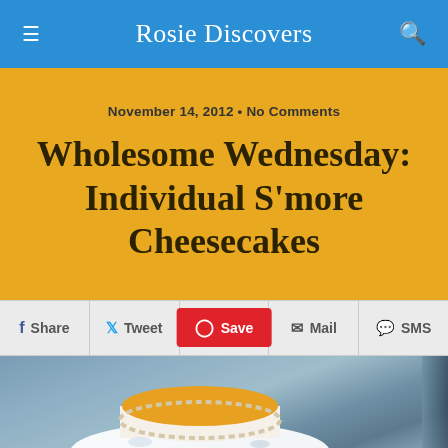Rosie Discovers
November 14, 2012 • No Comments
Wholesome Wednesday: Individual S'more Cheesecakes
Share  Tweet  Save  Mail  SMS
[Figure (photo): Photo of an individual s'more cheesecake with orange/yellow top glaze on a white plate, on a tiled surface, with blurred background]